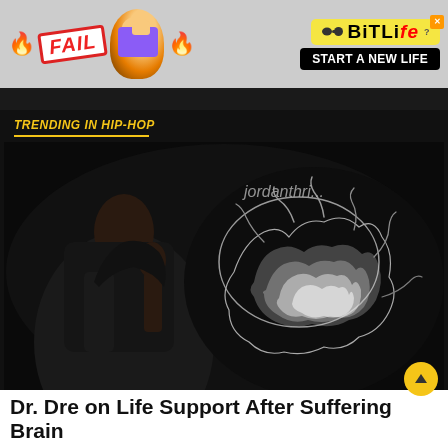[Figure (screenshot): Advertisement banner for BitLife mobile game. Shows 'FAIL' text badge with cartoon blonde woman facepalming, fire emojis, BitLife logo in yellow, and 'START A NEW LIFE' button on dark/gray background.]
TRENDING IN HIP-HOP
[Figure (photo): Black and white composite image: left side shows a dark silhouetted figure, right side shows a smoke cloud shaped like a brain on a dark background. Watermark text 'jordanthri...' visible in upper right area.]
Dr. Dre on Life Support After Suffering Brain